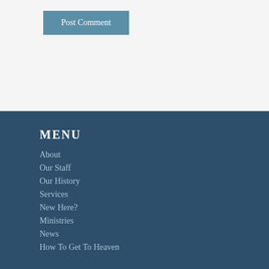Post Comment
MENU
About
Our Staff
Our History
Services
New Here?
Ministries
News
How To Get To Heaven